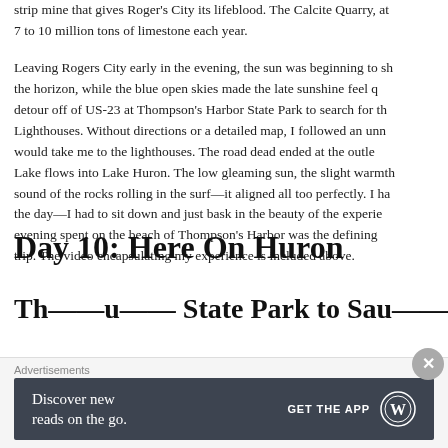strip mine that gives Roger's City its lifeblood. The Calcite Quarry, at 7 to 10 million tons of limestone each year.
Leaving Rogers City early in the evening, the sun was beginning to sh the horizon, while the blue open skies made the late sunshine feel q detour off of US-23 at Thompson's Harbor State Park to search for th Lighthouses. Without directions or a detailed map, I followed an unn would take me to the lighthouses. The road dead ended at the outle Lake flows into Lake Huron. The low gleaming sun, the slight warmth sound of the rocks rolling in the surf—it aligned all too perfectly. I ha the day—I had to sit down and just bask in the beauty of the experie evening spent on the beach of Thompson's Harbor was the defining trip. The video encapsulating my experience is included above.
Day 10: Here On Huron
Th...u... State Park to Saugatuck 70 Mi...
Advertisements
[Figure (other): Advertisement banner: 'Discover new reads on the go. GET THE APP' with WordPress logo on dark grey background.]